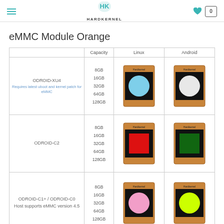HARDKERNEL
eMMC Module Orange
|  | Capacity | Linux | Android |
| --- | --- | --- | --- |
| ODROID-XU4
Requires latest uboot and kernel patch for eMMC | 8GB
16GB
32GB
64GB
128GB | [Linux eMMC image - blue circle] | [Android eMMC image - white circle] |
| ODROID-C2 | 8GB
16GB
32GB
64GB
128GB | [Linux eMMC image - red square] | [Android eMMC image - green square] |
| ODROID-C1+ / ODROID-C0
Host supports eMMC version 4.5 | 8GB
16GB
32GB
64GB
128GB | [Linux eMMC image - pink circle] | [Android eMMC image - lime circle] |